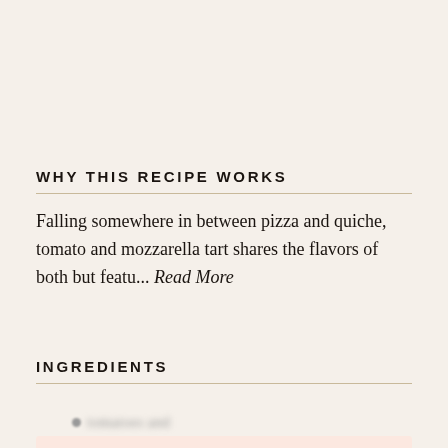WHY THIS RECIPE WORKS
Falling somewhere in between pizza and quiche, tomato and mozzarella tart shares the flavors of both but featu... Read More
INGREDIENTS